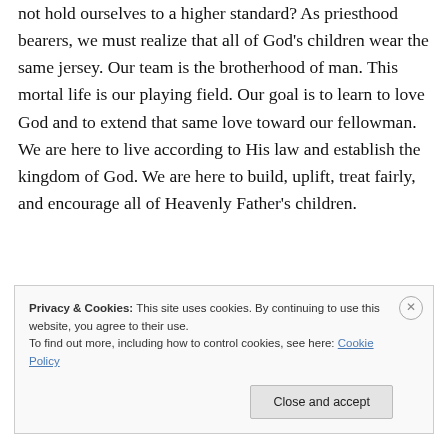not hold ourselves to a higher standard? As priesthood bearers, we must realize that all of God's children wear the same jersey. Our team is the brotherhood of man. This mortal life is our playing field. Our goal is to learn to love God and to extend that same love toward our fellowman. We are here to live according to His law and establish the kingdom of God. We are here to build, uplift, treat fairly, and encourage all of Heavenly Father's children.
Privacy & Cookies: This site uses cookies. By continuing to use this website, you agree to their use. To find out more, including how to control cookies, see here: Cookie Policy